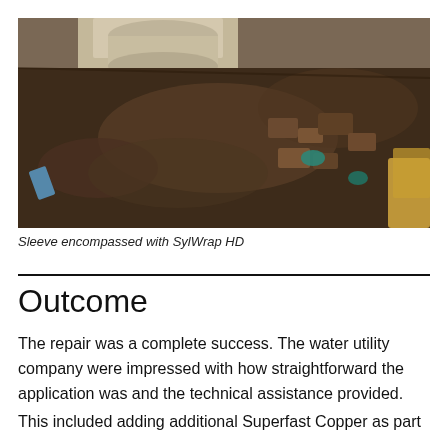[Figure (photo): Excavated trench showing a pipe sleeve surrounded by dark soil and rubble, with some blue/green material visible around pipe section and sandy/orange earth at the right edge.]
Sleeve encompassed with SylWrap HD
Outcome
The repair was a complete success. The water utility company were impressed with how straightforward the application was and the technical assistance provided.
This included adding additional Superfast Copper as part